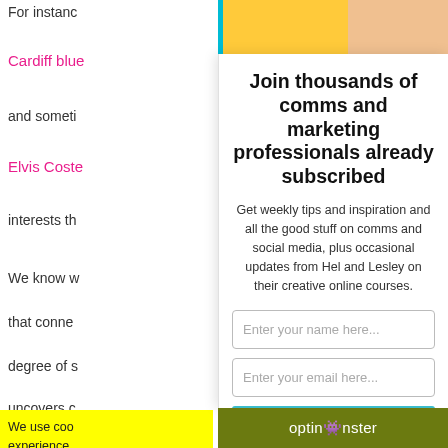For instance
Cardiff blue
and someti
Elvis Coste
interests th
We know w
that conne
degree of s
uncovers c
Join thousands of comms and marketing professionals already subscribed
Get weekly tips and inspiration and all the good stuff on comms and social media, plus occasional updates from Hel and Lesley on their creative online courses.
Enter your name here...
Enter your email here...
YES, KEEP ME UP TO DATE!
We use coo experience visits. By cl cookies.
Cookie set
optinmonster